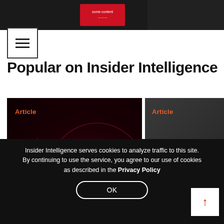[Figure (screenshot): Top banner images showing dark article thumbnails]
[Figure (other): Hamburger menu icon]
Popular on Insider Intelligence
[Figure (other): Article card: 'Article' label in orange, title 'A rapidly surging market for US digital retail media' on dark red background]
[Figure (other): Article card: 'Article' label in orange, title 'Flash Take: How Q2 Earnings Sta... Our Forecasts' on dark grey background]
Insider Intelligence serves cookies to analyze traffic to this site. By continuing to use the service, you agree to our use of cookies as described in the Privacy Policy
OK